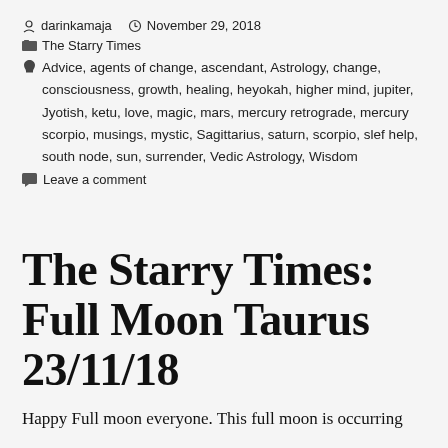darinkamaja  November 29, 2018
The Starry Times
Advice, agents of change, ascendant, Astrology, change, consciousness, growth, healing, heyokah, higher mind, jupiter, Jyotish, ketu, love, magic, mars, mercury retrograde, mercury scorpio, musings, mystic, Sagittarius, saturn, scorpio, slef help, south node, sun, surrender, Vedic Astrology, Wisdom
Leave a comment
The Starry Times: Full Moon Taurus 23/11/18
Happy Full moon everyone. This full moon is occurring